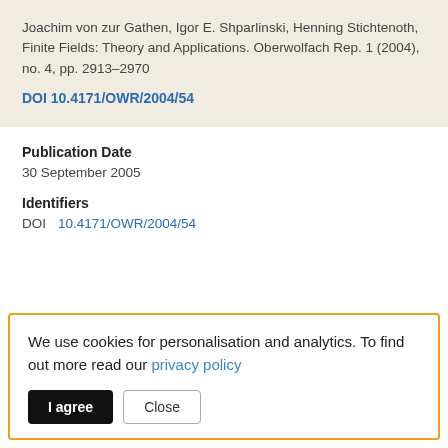Joachim von zur Gathen, Igor E. Shparlinski, Henning Stichtenoth, Finite Fields: Theory and Applications. Oberwolfach Rep. 1 (2004), no. 4, pp. 2913–2970
DOI 10.4171/OWR/2004/54
Publication Date
30 September 2005
Identifiers
DOI   10.4171/OWR/2004/54
We use cookies for personalisation and analytics. To find out more read our privacy policy
I agree   Close